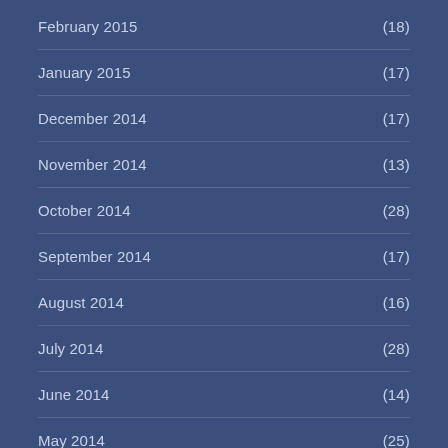February 2015 (18)
January 2015 (17)
December 2014 (17)
November 2014 (13)
October 2014 (28)
September 2014 (17)
August 2014 (16)
July 2014 (28)
June 2014 (14)
May 2014 (25)